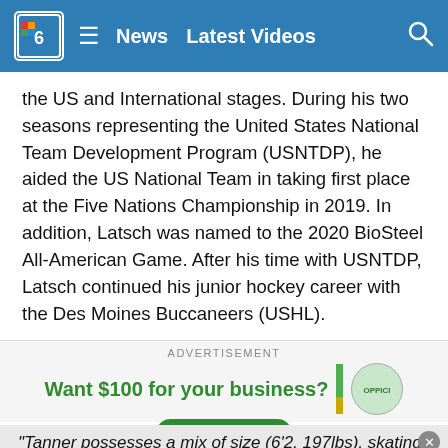N6 | News | Latest Videos
the US and International stages. During his two seasons representing the United States National Team Development Program (USNTDP), he aided the US National Team in taking first place at the Five Nations Championship in 2019. In addition, Latsch was named to the 2020 BioSteel All-American Game. After his time with USNTDP, Latsch continued his junior hockey career with the Des Moines Buccaneers (USHL).
[Figure (other): Advertisement banner: Want $100 for your business? Learn More button, with green and gold stripe and circular logo]
"Tanner possesses a mix of size (6'2, 197lbs), skating, and a big-time release. His knack to shoot the puck has been